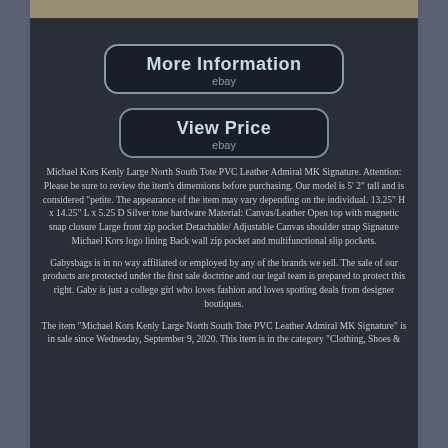[Figure (screenshot): Top image strip showing product image (cropped handbag photo)]
[Figure (screenshot): Button: More Information / ebay]
[Figure (screenshot): Button: View Price / ebay]
Michael Kors Kenly Large North South Tote PVC Leather Admiral MK Signature. Attention: Please be sure to review the item's dimensions before purchasing. Our model is 5' 2" tall and is considered "petite. The appearance of the item may vary depending on the individual. 13.25" H x 14.25" L x 5.25 D Silver tone hardware Material: Canvas/Leather Open top with magnetic snap closure Large front zip pocket Detachable/ Adjustable Canvas shoulder strap Signature Michael Kors logo lining Back wall zip pocket and multifunctional slip pockets.
Gabysbags is in no way affiliated or employed by any of the brands we sell. The sale of our products are protected under the first sale doctrine and our legal team is prepared to protect this right. Gaby is just a college girl who loves fashion and loves spotting deals from designer boutiques.
The item "Michael Kors Kenly Large North South Tote PVC Leather Admiral MK Signature" is in sale since Wednesday, September 9, 2020. This item is in the category "Clothing, Shoes &